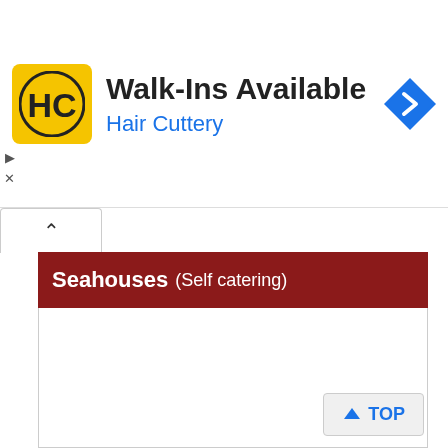[Figure (logo): Hair Cuttery advertisement banner with HC logo in yellow square, text 'Walk-Ins Available' and 'Hair Cuttery' in blue, with blue navigation diamond icon]
Seahouses (Self catering)
TOP